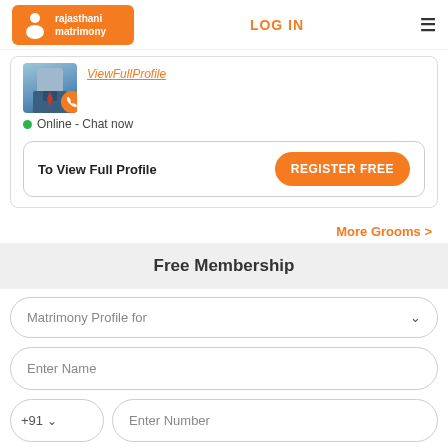[Figure (logo): Rajasthani Matrimony logo with orange background and white couple icon]
LOG IN
≡
ViewFullProfile
Online - Chat now
To View Full Profile
REGISTER FREE
More Grooms >
Free Membership
Matrimony Profile for
Enter Name
+91
Enter Number